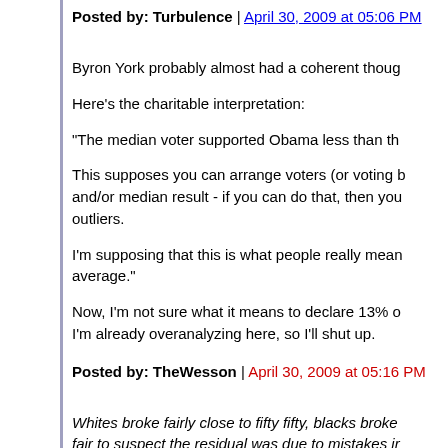Posted by: Turbulence | April 30, 2009 at 05:06 PM
Byron York probably almost had a coherent thoug
Here's the charitable interpretation:
"The median voter supported Obama less than th
This supposes you can arrange voters (or voting b and/or median result - if you can do that, then you outliers.
I'm supposing that this is what people really mean average."
Now, I'm not sure what it means to declare 13% d I'm already overanalyzing here, so I'll shut up.
Posted by: TheWesson | April 30, 2009 at 05:16 PM
Whites broke fairly close to fifty fifty, blacks broke fair to suspect the residual was due to mistakes ir
% of black vote for the Democratic candidate by y